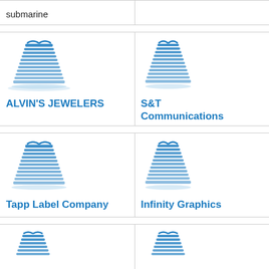submarine
[Figure (logo): Building/skyscraper icon in teal blue]
ALVIN'S JEWELERS
[Figure (logo): Building/skyscraper icon in teal blue]
S&T Communications
[Figure (logo): Building/skyscraper icon in teal blue]
Tapp Label Company
[Figure (logo): Building/skyscraper icon in teal blue]
Infinity Graphics
[Figure (logo): Building/skyscraper icon in teal blue (partial, bottom of page)]
[Figure (logo): Building/skyscraper icon in teal blue (partial, bottom of page)]